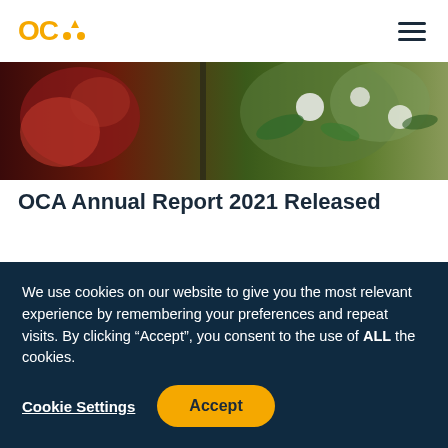OCA
[Figure (photo): Outdoor agricultural photo showing red and white cotton plants or flowers in a field]
OCA Annual Report 2021 Released
OCA launches its Annual Report 2021 which highlights the achievements over the last year. The report details the continued steady growth across the organisation with measurable farm-
We use cookies on our website to give you the most relevant experience by remembering your preferences and repeat visits. By clicking “Accept”, you consent to the use of ALL the cookies.
Cookie Settings
Accept